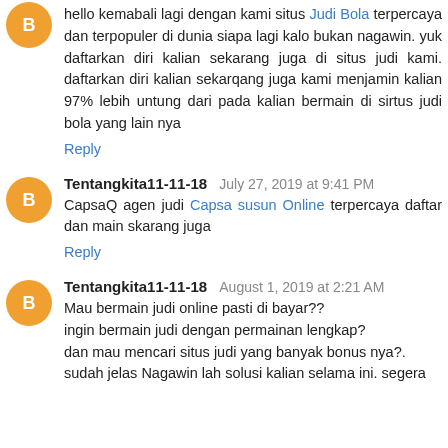hello kemabali lagi dengan kami situs Judi Bola terpercaya dan terpopuler di dunia siapa lagi kalo bukan nagawin. yuk daftarkan diri kalian sekarang juga di situs judi kami. daftarkan diri kalian sekarqang juga kami menjamin kalian 97% lebih untung dari pada kalian bermain di sirtus judi bola yang lain nya
Reply
Tentangkita11-11-18  July 27, 2019 at 9:41 PM
CapsaQ agen judi Capsa susun Online terpercaya daftar dan main skarang juga
Reply
Tentangkita11-11-18  August 1, 2019 at 2:21 AM
Mau bermain judi online pasti di bayar??
gingin bermain judi dengan permainan lengkap?
dan mau mencari situs judi yang banyak bonus nya?.
sudah jelas Nagawin lah solusi kalian selama ini. segera